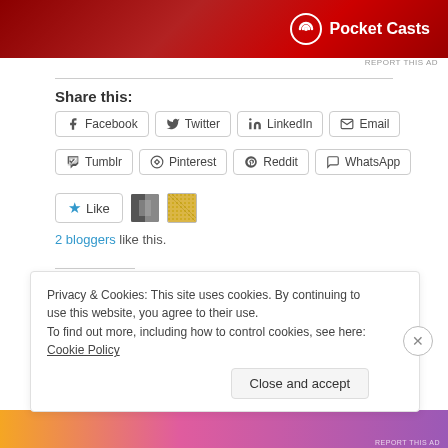[Figure (screenshot): Pocket Casts advertisement banner with red gradient background and white Pocket Casts logo]
REPORT THIS AD
Share this:
Facebook
Twitter
LinkedIn
Email
Tumblr
Pinterest
Reddit
WhatsApp
2 bloggers like this.
Related
Privacy & Cookies: This site uses cookies. By continuing to use this website, you agree to their use.
To find out more, including how to control cookies, see here: Cookie Policy